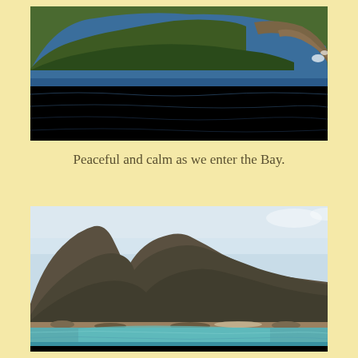[Figure (photo): Ocean view with green rocky headlands and dark blue sea water in the foreground, taken from a boat approaching a bay.]
Peaceful and calm as we enter the Bay.
[Figure (photo): Coastal bay view showing rugged mountains covered in scrubby vegetation with turquoise and blue water in the foreground and a sandy beach visible at the base of the hills.]